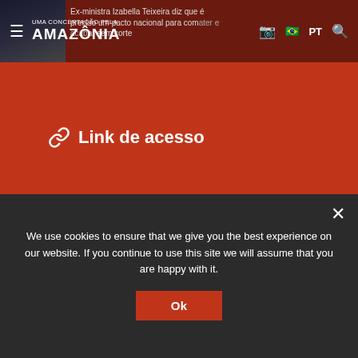UMA CONCERTAÇÃO PELA AMAZÔNIA
Ex-ministra Izabella Teixeira diz que é preciso um pacto nacional para combater e acabar com corte
[Figure (screenshot): Red background section with link icon and 'Link de acesso' text in white]
✓ exibir catalogação
We use cookies to ensure that we give you the best experience on our website. If you continue to use this site we will assume that you are happy with it.
Ok